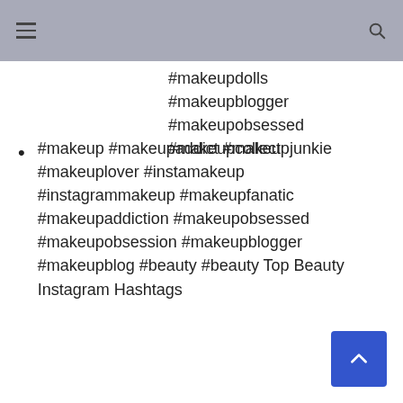#makeupdolls #makeupblogger #makeupobsessed #makeupcollect
#makeup #makeupaddict #makeupjunkie #makeuplover #instamakeup #instagrammakeup #makeupfanatic #makeupaddiction #makeupobsessed #makeupobsession #makeupblogger #makeupblog #beauty #beauty Top Beauty Instagram Hashtags